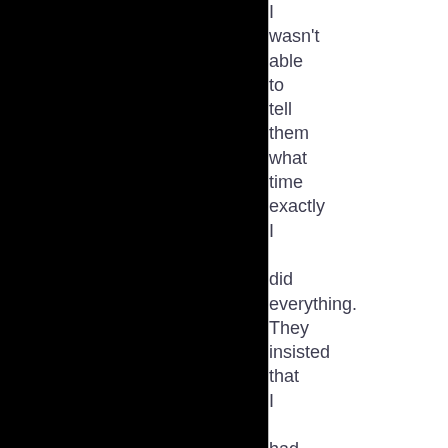I wasn't able to tell them what time exactly I did everything. They insisted that I had left the apartment for a certain period of